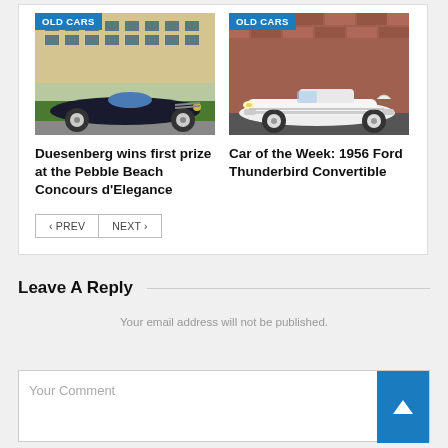[Figure (photo): Old classic dark blue/black open-top car at Pebble Beach Concours d'Elegance with badge 'OLD CARS']
Duesenberg wins first prize at the Pebble Beach Concours d'Elegance
[Figure (photo): 1956 Ford Thunderbird Convertible in white parked on a street with badge 'OLD CARS']
Car of the Week: 1956 Ford Thunderbird Convertible
Leave A Reply
Your email address will not be published.
Your Comment